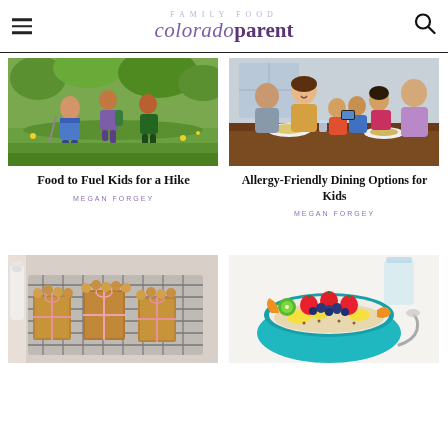FAMILY FOOD — coloradoparent
[Figure (photo): Children hiking through green meadow with hiking poles]
Food to Fuel Kids for a Hike
MEGAN FORGEY
[Figure (photo): Family dining together at a restaurant, smiling, with children using a tablet]
Allergy-Friendly Dining Options for Kids
MEGAN FORGEY
[Figure (photo): Baked goods tied with pink ribbon arranged on a cooling rack]
[Figure (photo): Colorful fruit and grain bowl with strawberries, banana, and blueberries in a teal bowl]